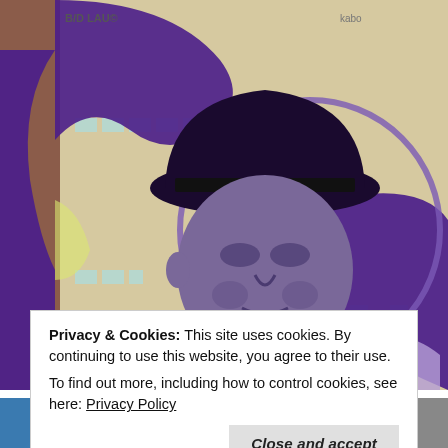[Figure (photo): Large street art mural painted on the side of a multi-story building. The mural depicts an elderly man wearing a wide-brimmed hat and suit, rendered in purple/grey tones. Large purple abstract lettering and a purple circle surround the figure. Green geometric shapes form a jacket or background. Graffiti tags visible at top. A brick building is visible at lower left.]
Privacy & Cookies: This site uses cookies. By continuing to use this website, you agree to their use.
To find out more, including how to control cookies, see here: Privacy Policy
Close and accept